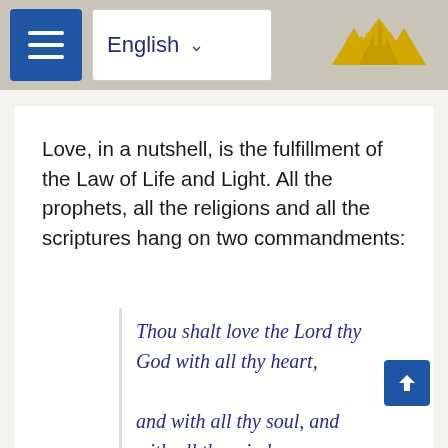English [navigation bar with hamburger menu and logo]
Love, in a nutshell, is the fulfillment of the Law of Life and Light. All the prophets, all the religions and all the scriptures hang on two commandments:
Thou shalt love the Lord thy God with all thy heart, and with all thy soul, and with all thy mind. This is the first and greatest commandment, And the second is like unto it: